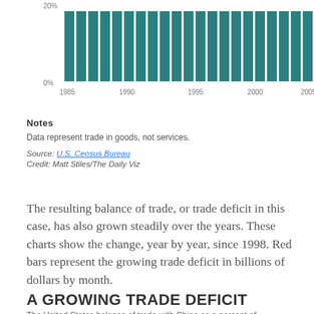[Figure (bar-chart): Trade chart 1985-2007]
Notes
Data represent trade in goods, not services.
Source: U.S. Census Bureau
Credit: Matt Stiles/The Daily Viz
The resulting balance of trade, or trade deficit in this case, has also grown steadily over the years. These charts show the change, year by year, since 1998. Red bars represent the growing trade deficit in billions of dollars by month.
A GROWING TRADE DEFICIT
The United States balance of trade with China as a percent of...